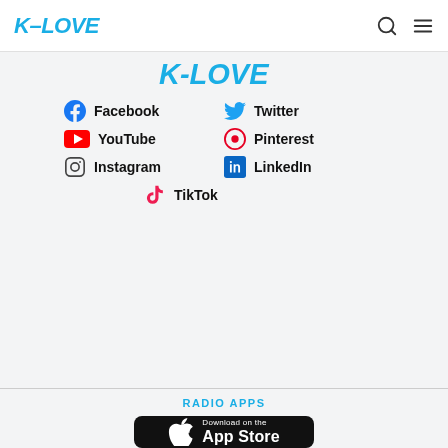K-LOVE
[Figure (logo): K-LOVE logo partial in blue at top of social section]
Facebook
Twitter
YouTube
Pinterest
Instagram
LinkedIn
TikTok
RADIO APPS
[Figure (screenshot): Download on the App Store button]